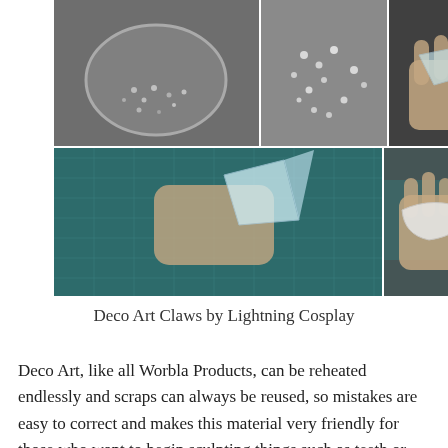[Figure (photo): Grid of 5 craft/DIY photos showing Deco Art Worbla material: top row has metal bowl with small beads, scattered silver beads on surface, hand holding clear molded piece; bottom row shows hand using clear claw/nail on cutting mat, and hand holding white curved piece.]
Deco Art Claws by Lightning Cosplay
Deco Art, like all Worbla Products, can be reheated endlessly and scraps can always be reused, so mistakes are easy to correct and makes this material very friendly for those who want to begin sculpting things such as teeth or horns. The surface of Deco